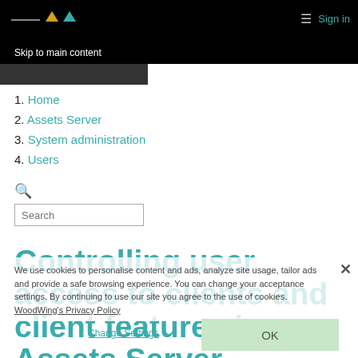Skip to main content  Sign in
1. Home
2. Assets Server
3. System administration
4. Users
Search
Controlling user access to clients and client features in Assets Server
We use cookies to personalise content and ads, analyze site usage, tailor ads and provide a safe browsing experience. You can change your acceptance settings. By continuing to use our site you agree to the use of cookies. WoodWing's Privacy Policy
Change Settings  OK